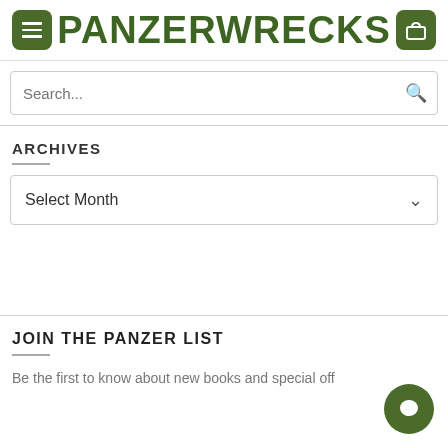PANZERWRECKS
ARCHIVES
Select Month
JOIN THE PANZER LIST
Be the first to know about new books and special off...